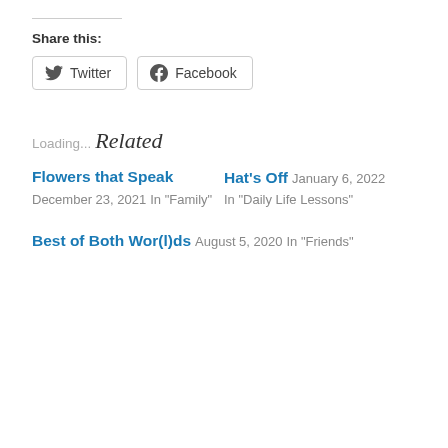Share this:
Twitter  Facebook
Loading...
Related
Flowers that Speak
December 23, 2021
In "Family"
Hat's Off
January 6, 2022
In "Daily Life Lessons"
Best of Both Wor(l)ds
August 5, 2020
In "Friends"